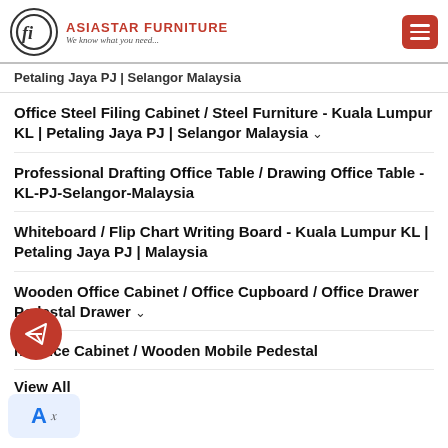[Figure (logo): Asiastar Furniture logo with circle containing stylized 'fi' letters and company name 'ASIASTAR FURNITURE - We know what you need...' in red text, plus red hamburger menu button]
Petaling Jaya PJ | Selangor Malaysia
Office Steel Filing Cabinet / Steel Furniture - Kuala Lumpur KL | Petaling Jaya PJ | Selangor Malaysia ˅
Professional Drafting Office Table / Drawing Office Table - KL-PJ-Selangor-Malaysia
Whiteboard / Flip Chart Writing Board - Kuala Lumpur KL | Petaling Jaya PJ | Malaysia
Wooden Office Cabinet / Office Cupboard / Office Drawer Pedestal Drawer ˅
n Office Cabinet / Wooden Mobile Pedestal
View All
[Figure (other): Red circular Telegram send button icon]
[Figure (other): Google Translate widget icon with letter A in blue and Ax]